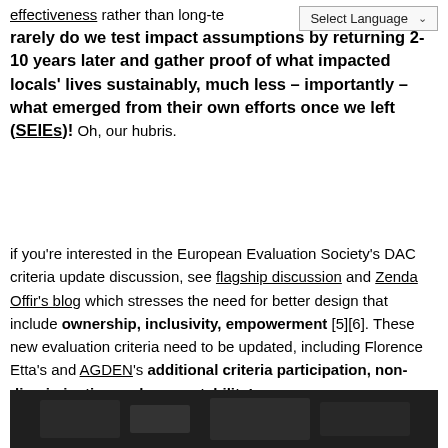effectiveness rather than long-te… rarely do we test impact assumptions by returning 2-10 years later and gather proof of what impacted locals' lives sustainably, much less – importantly – what emerged from their own efforts once we left (SEIEs)! Oh, our hubris.
if you're interested in the European Evaluation Society's DAC criteria update discussion, see flagship discussion and Zenda Offir's blog which stresses the need for better design that include ownership, inclusivity, empowerment [5][6]. These new evaluation criteria need to be updated, including Florence Etta's and AGDEN's additional criteria participation, non-discrimination and accountability!
[Figure (photo): Dark image at the bottom of the page, appears to be a photo of people or an event, mostly dark/black tones.]